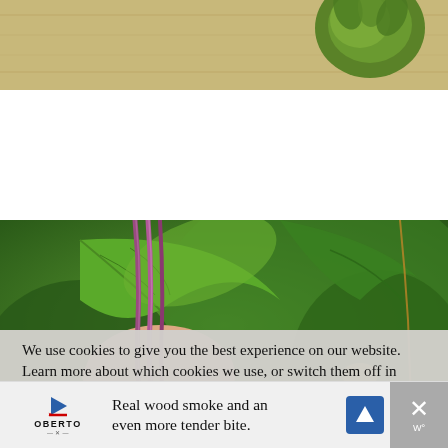[Figure (photo): Top partial photo showing wooden surface and artichoke-like green vegetable on a wood background]
[Figure (photo): Hand holding purple-stemmed Swiss chard or similar plant against lush green garden background with large leaves]
We use cookies to give you the best experience on our website.
Learn more about which cookies we use, or switch them off in settings.
Accept
Real wood smoke and an even more tender bite.